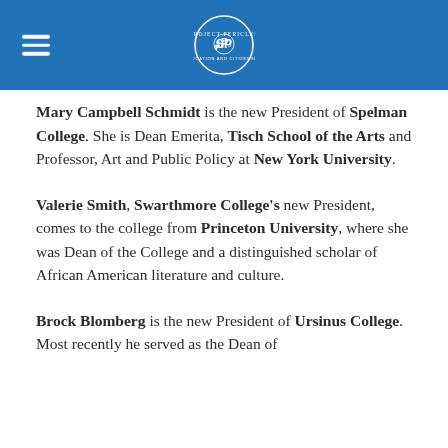Project Pericles logo and navigation
Mary Campbell Schmidt is the new President of Spelman College. She is Dean Emerita, Tisch School of the Arts and Professor, Art and Public Policy at New York University.
Valerie Smith, Swarthmore College's new President, comes to the college from Princeton University, where she was Dean of the College and a distinguished scholar of African American literature and culture.
Brock Blomberg is the new President of Ursinus College. Most recently he served as the Dean of